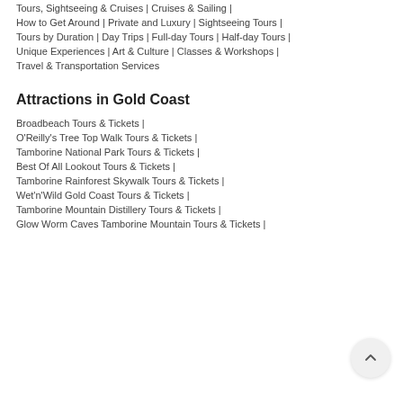Tours, Sightseeing & Cruises | Cruises & Sailing |
How to Get Around | Private and Luxury | Sightseeing Tours |
Tours by Duration | Day Trips | Full-day Tours | Half-day Tours |
Unique Experiences | Art & Culture | Classes & Workshops |
Travel & Transportation Services
Attractions in Gold Coast
Broadbeach Tours & Tickets |
O'Reilly's Tree Top Walk Tours & Tickets |
Tamborine National Park Tours & Tickets |
Best Of All Lookout Tours & Tickets |
Tamborine Rainforest Skywalk Tours & Tickets |
Wet'n'Wild Gold Coast Tours & Tickets |
Tamborine Mountain Distillery Tours & Tickets |
Glow Worm Caves Tamborine Mountain Tours & Tickets |